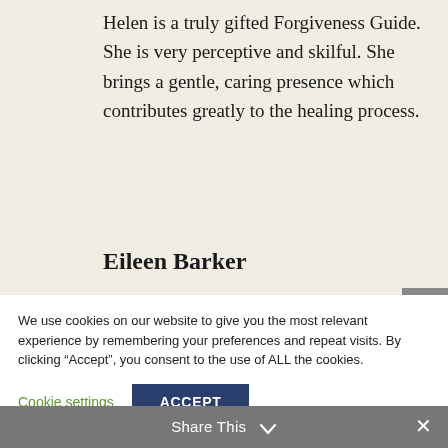Helen is a truly gifted Forgiveness Guide. She is very perceptive and skilful. She brings a gentle, caring presence which contributes greatly to the healing process.
Eileen Barker
We use cookies on our website to give you the most relevant experience by remembering your preferences and repeat visits. By clicking “Accept”, you consent to the use of ALL the cookies.
Cookie settings
ACCEPT
Share This